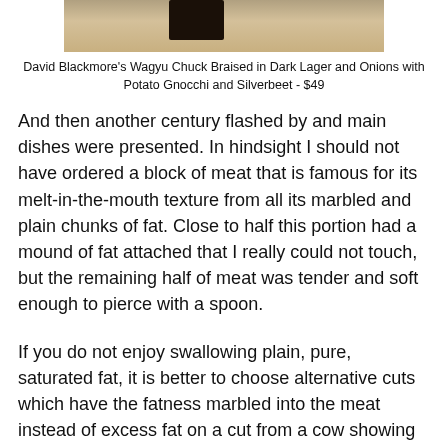[Figure (photo): Photo of David Blackmore's Wagyu Chuck Braised in Dark Lager and Onions with Potato Gnocchi and Silverbeet dish]
David Blackmore's Wagyu Chuck Braised in Dark Lager and Onions with Potato Gnocchi and Silverbeet - $49
And then another century flashed by and main dishes were presented. In hindsight I should not have ordered a block of meat that is famous for its melt-in-the-mouth texture from all its marbled and plain chunks of fat. Close to half this portion had a mound of fat attached that I really could not touch, but the remaining half of meat was tender and soft enough to pierce with a spoon.
If you do not enjoy swallowing plain, pure, saturated fat, it is better to choose alternative cuts which have the fatness marbled into the meat instead of excess fat on a cut from a cow showing clear signs of obesity.
But I scraped up every last piece of sweet juicy onion, silverbeet and creamy potato gnocchi there was. The gnocchi in particular, is one of the better gnocchi's I have